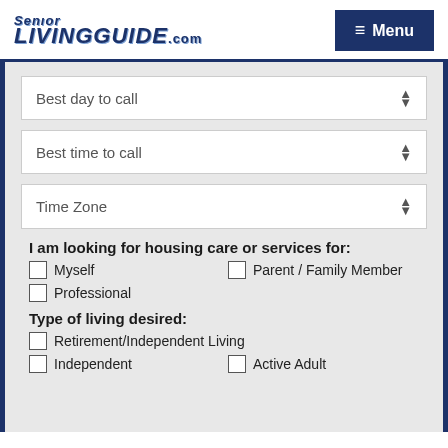Senior LIVINGGUIDE.com | Menu
Best day to call (dropdown)
Best time to call (dropdown)
Time Zone (dropdown)
I am looking for housing care or services for:
Myself
Parent / Family Member
Professional
Type of living desired:
Retirement/Independent Living
Independent
Active Adult